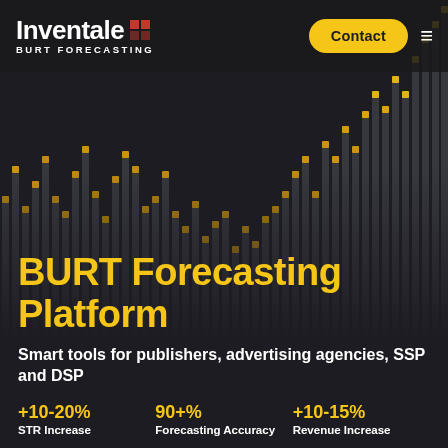[Figure (infographic): Dark-themed bar chart visualization showing many vertical bars with golden/yellow tops arranged in a wave pattern across a dark background, suggesting forecasting data visualization]
Inventale BURT FORECASTING
BURT Forecasting Platform
Smart tools for publishers, advertising agencies, SSP and DSP
+10-20%
STR Increase
90+%
Forecasting Accuracy
+10-15%
Revenue Increase